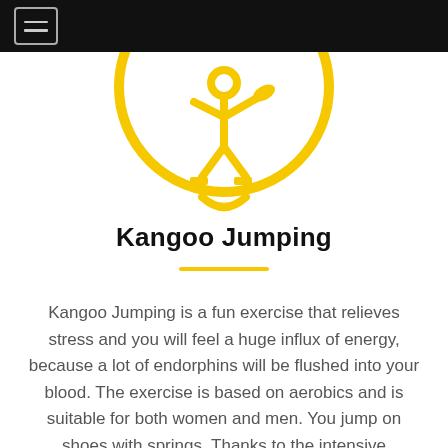[Figure (logo): Partial circular yellow logo with a figure jumping and a leaf/plant element inside, shown cropped at the top of the page on a white background]
Kangoo Jumping
Kangoo Jumping is a fun exercise that relieves stress and you will feel a huge influx of energy, because a lot of endorphins will be flushed into your blood. The exercise is based on aerobics and is suitable for both women and men. You jump on shoes with springs. Thanks to the intensive involvement of the muscles during bouncing, legs and buttocks are the most involved. Kangoo Jumping is ideal for building